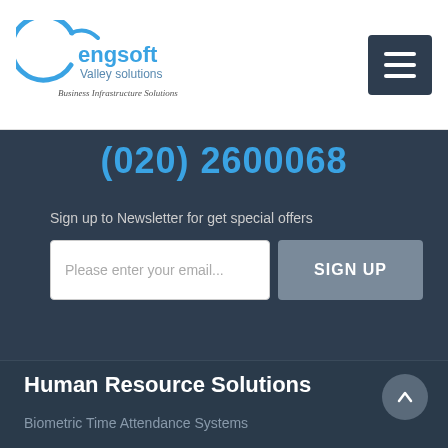[Figure (logo): Engsoft Valley Solutions logo with circular swoosh and text 'Business Infrastructure Solutions']
(020) 2600068
Sign up to Newsletter for get special offers
Please enter your email...
SIGN UP
Human Resource Solutions
Biometric Time Attendance Systems